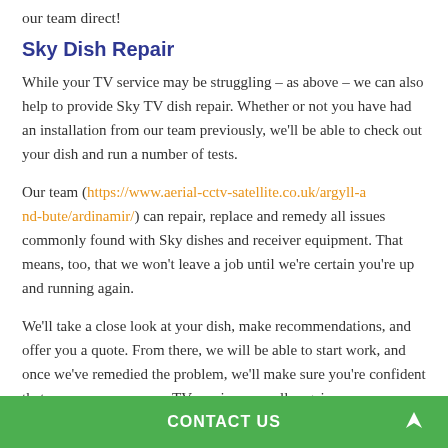our team direct!
Sky Dish Repair
While your TV service may be struggling – as above – we can also help to provide Sky TV dish repair. Whether or not you have had an installation from our team previously, we'll be able to check out your dish and run a number of tests.
Our team (https://www.aerial-cctv-satellite.co.uk/argyll-and-bute/ardinamir/) can repair, replace and remedy all issues commonly found with Sky dishes and receiver equipment. That means, too, that we won't leave a job until we're certain you're up and running again.
We'll take a close look at your dish, make recommendations, and offer you a quote. From there, we will be able to start work, and once we've remedied the problem, we'll make sure you're confident that you can access your TV service normally again.
CONTACT US